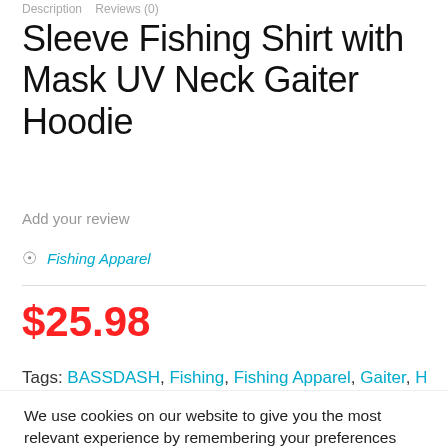Description Reviews (0)
Sleeve Fishing Shirt with Mask UV Neck Gaiter Hoodie
Add your review
Fishing Apparel
$25.98
Tags: BASSDASH, Fishing, Fishing Apparel, Gaiter, Hoodie, Long,
We use cookies on our website to give you the most relevant experience by remembering your preferences and repeat visits. By clicking “Accept All”, you consent to the use of ALL the cookies.
Cookie Settings   Accept All
$25.98  BUY NOW